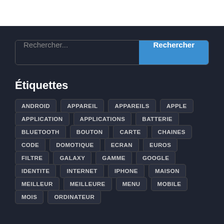[Figure (screenshot): Search bar with placeholder text 'Rechercher...' and a blue button labeled 'Rechercher']
Étiquettes
ANDROID
APPAREIL
APPAREILS
APPLE
APPLICATION
APPLICATIONS
BATTERIE
BLUETOOTH
BOUTON
CARTE
CHAINES
CODE
DOMOTIQUE
ECRAN
EUROS
FILTRE
GALAXY
GAMME
GOOGLE
IDENTITE
INTERNET
IPHONE
MAISON
MEILLEUR
MEILLEURE
MENU
MOBILE
MOIS
ORDINATEUR